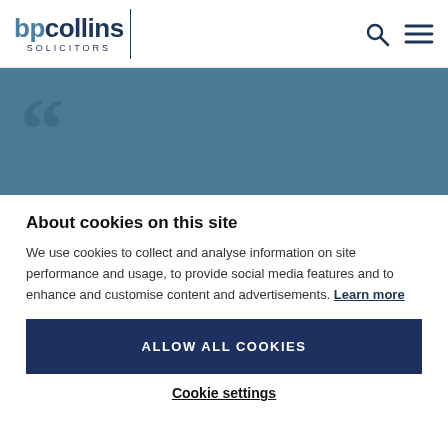[Figure (logo): BP Collins Solicitors logo with search and menu icons]
[Figure (illustration): Blue banner with large quotation marks and partial text: Thank you once more for being so]
About cookies on this site
We use cookies to collect and analyse information on site performance and usage, to provide social media features and to enhance and customise content and advertisements. Learn more
ALLOW ALL COOKIES
Cookie settings